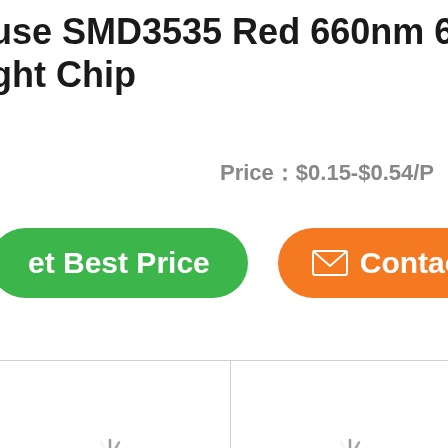use SMD3535 Red 660nm 665nm ght Chip
Price：$0.15-$0.54/P
et Best Price
Contac
[Figure (other): Two product image thumbnails with loading spinners]